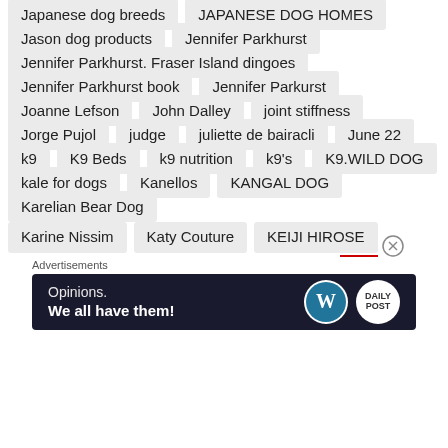Japanese dog breeds
JAPANESE DOG HOMES
Jason dog products
Jennifer Parkhurst
Jennifer Parkhurst. Fraser Island dingoes
Jennifer Parkhurst book
Jennifer Parkurst
Joanne Lefson
John Dalley
joint stiffness
Jorge Pujol
judge
juliette de bairacli
June 22
k9
K9 Beds
k9 nutrition
k9's
K9.WILD DOG
kale for dogs
Kanellos
KANGAL DOG
Karelian Bear Dog
Karine Nissim
Katy Couture
KEIJI HIROSE
Advertisements
[Figure (other): Advertisement banner with WordPress logo: 'Opinions. We all have them!']